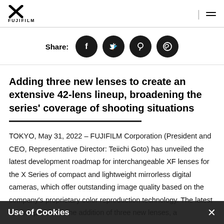FUJIFILM logo and navigation
Share:
Adding three new lenses to create an extensive 42-lens lineup, broadening the series' coverage of shooting situations
TOKYO, May 31, 2022 – FUJIFILM Corporation (President and CEO, Representative Director: Teiichi Goto) has unveiled the latest development roadmap for interchangeable XF lenses for the X Series of compact and lightweight mirrorless digital cameras, which offer outstanding image quality based on the company's proprietary color reproduction technology. The latest roadmap calls for the addition of three new lenses, a
Use of Cookies